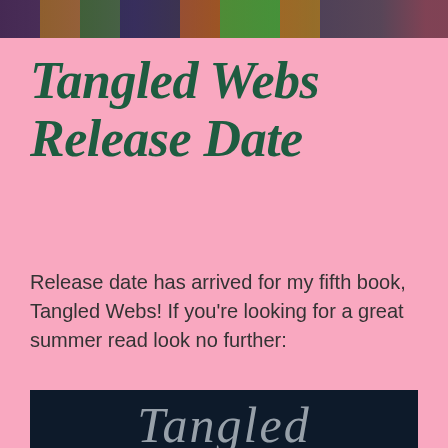[Figure (photo): Cropped top portion of a photo showing colorful figures or costumes in purple, orange, and green tones against a dark background]
Tangled Webs Release Date
Release date has arrived for my fifth book, Tangled Webs! If you’re looking for a great summer read look no further:
[Figure (photo): Book cover image showing the word 'Tangled' in silver cursive script on a dark navy/black background]